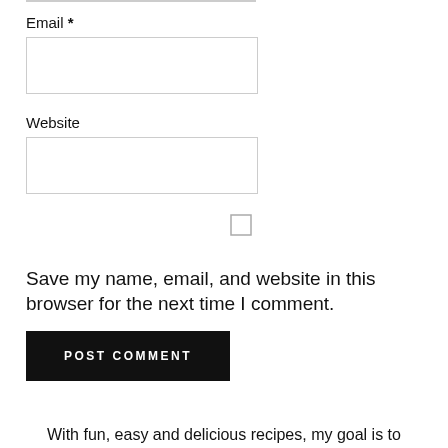Email *
[Figure (other): Empty email input text field (bordered rectangle)]
Website
[Figure (other): Empty website input text field (bordered rectangle)]
[Figure (other): Checkbox (unchecked)]
Save my name, email, and website in this browser for the next time I comment.
POST COMMENT
With fun, easy and delicious recipes, my goal is to